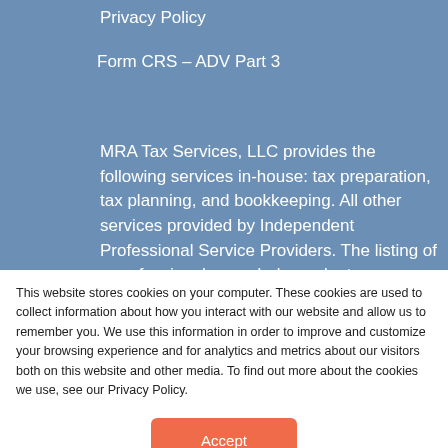Privacy Policy
Form CRS – ADV Part 3
MRA Tax Services, LLC provides the following services in-house: tax preparation, tax planning, and bookkeeping. All other services provided by Independent Professional Service Providers. The listing of a professional as an Independent Professional Service Provider is not an endorsement or recommendation of the provider. Retention of
This website stores cookies on your computer. These cookies are used to collect information about how you interact with our website and allow us to remember you. We use this information in order to improve and customize your browsing experience and for analytics and metrics about our visitors both on this website and other media. To find out more about the cookies we use, see our Privacy Policy.
Accept